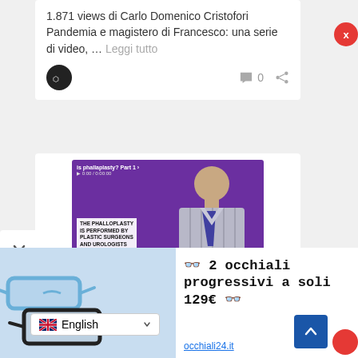1.871 views di Carlo Domenico Cristofori Pandemia e magistero di Francesco: una serie di video, ... Leggi tutto
[Figure (screenshot): Video thumbnail with purple background showing a man in a striped shirt and dark tie. Text overlay reads: 'THE PHALLOPLASTY IS PERFORMED BY PLASTIC SURGEONS AND UROLOGISTS'. Top bar shows 'is phallaplasty? Part 1']
[Figure (infographic): Advertisement banner showing two pairs of eyeglasses on a light blue background with Italian text '2 occhiali progressivi a soli 129€' and site 'occhiali24.it']
👓 2 occhiali progressivi a soli 129€ 👓
occhiali24.it
English